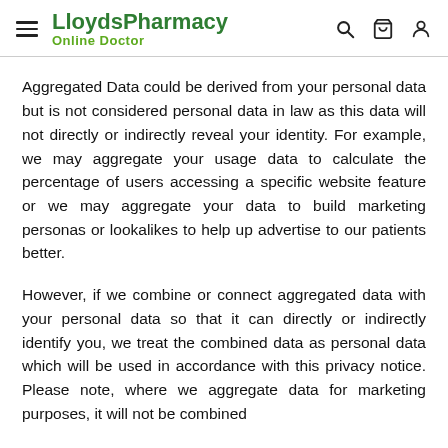LloydsPharmacy Online Doctor
Aggregated Data could be derived from your personal data but is not considered personal data in law as this data will not directly or indirectly reveal your identity. For example, we may aggregate your usage data to calculate the percentage of users accessing a specific website feature or we may aggregate your data to build marketing personas or lookalikes to help up advertise to our patients better.
However, if we combine or connect aggregated data with your personal data so that it can directly or indirectly identify you, we treat the combined data as personal data which will be used in accordance with this privacy notice. Please note, where we aggregate data for marketing purposes, it will not be combined